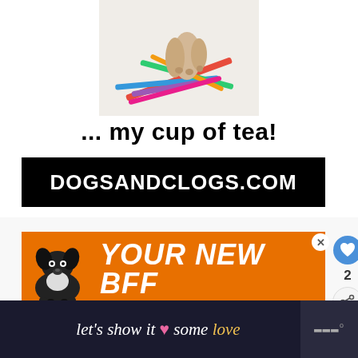[Figure (photo): Photo of a dog or animal paw near colorful pencils/crayons on a white background]
... my cup of tea!
[Figure (screenshot): Black banner with white bold text reading DOGSANDCLOGS.COM]
[Figure (infographic): Orange advertisement banner with a black dog silhouette and bold white italic text 'YOUR NEW BFF' with underline]
[Figure (screenshot): Heart/like button showing count of 2, and share button in sidebar]
[Figure (screenshot): What's Next panel with thumbnail image and text '13 Tips To Clean And...']
[Figure (screenshot): Bottom advertisement bar with dark background, text 'let's show it some love' with pink heart, and logo on right]